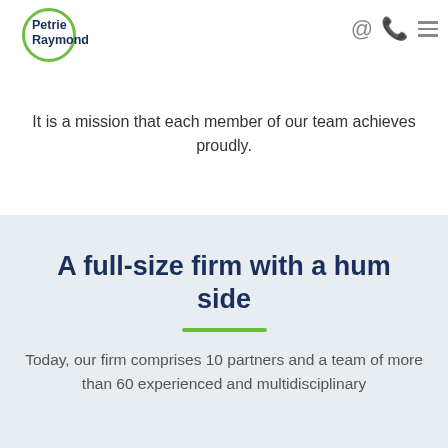Petrie Raymond
by offering tailored accounting and financial services and solutions to stimulate your business's growth. It is a mission that each member of our team achieves proudly.
A full-size firm with a human side
Today, our firm comprises 10 partners and a team of more than 60 experienced and multidisciplinary